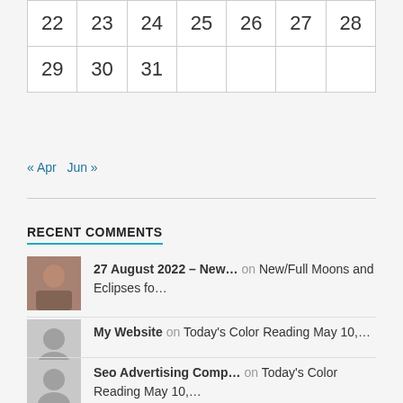| 22 | 23 | 24 | 25 | 26 | 27 | 28 |
| 29 | 30 | 31 |  |  |  |  |
« Apr   Jun »
RECENT COMMENTS
27 August 2022 – New… on New/Full Moons and Eclipses fo…
My Website on Today's Color Reading May 10,…
Seo Advertising Comp… on Today's Color Reading May 10,…